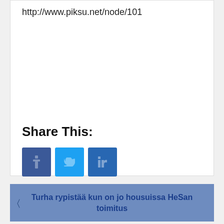http://www.piksu.net/node/101
Share This:
[Figure (other): Three social media share buttons: Facebook (dark blue), Twitter (light blue), LinkedIn (medium blue)]
Turha rypistää kun on jo housuissa HeSan toimitus
Euron vahvistuminen puoltaa hajauttamista Euroalueen ulkopuolelle